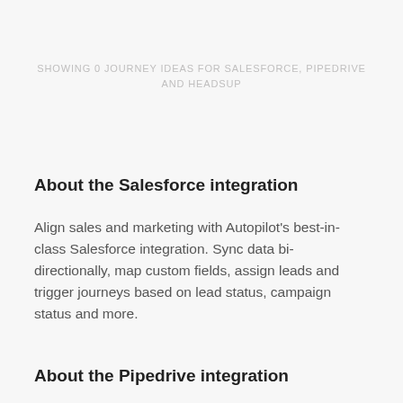SHOWING 0 JOURNEY IDEAS FOR SALESFORCE, PIPEDRIVE AND HEADSUP
About the Salesforce integration
Align sales and marketing with Autopilot's best-in-class Salesforce integration. Sync data bi-directionally, map custom fields, assign leads and trigger journeys based on lead status, campaign status and more.
About the Pipedrive integration